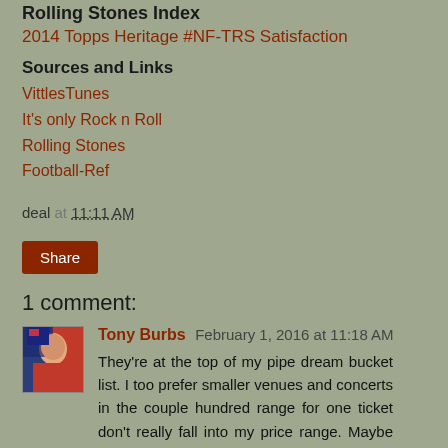Rolling Stones Index
2014 Topps Heritage #NF-TRS Satisfaction
Sources and Links
VittlesTunes
It's only Rock n Roll
Rolling Stones
Football-Ref
deal at 11:11 AM
Share
1 comment:
Tony Burbs February 1, 2016 at 11:18 AM
They're at the top of my pipe dream bucket list. I too prefer smaller venues and concerts in the couple hundred range for one ticket don't really fall into my price range. Maybe someday, although I'm sure that time isn't on my side here.
Reply